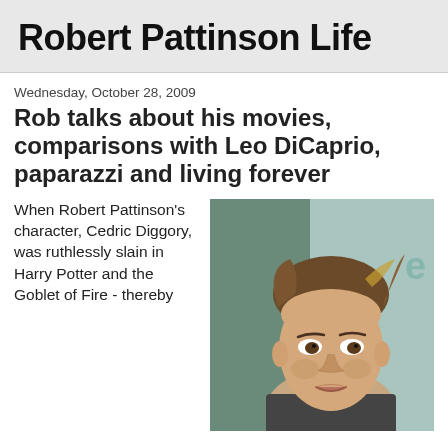Robert Pattinson Life
Wednesday, October 28, 2009
Rob talks about his movies, comparisons with Leo DiCaprio, paparazzi and living forever
[Figure (photo): Photo of Robert Pattinson, a young man with tousled brown hair, looking at the camera against a light blue background.]
When Robert Pattinson's character, Cedric Diggory, was ruthlessly slain in Harry Potter and the Goblet of Fire - thereby